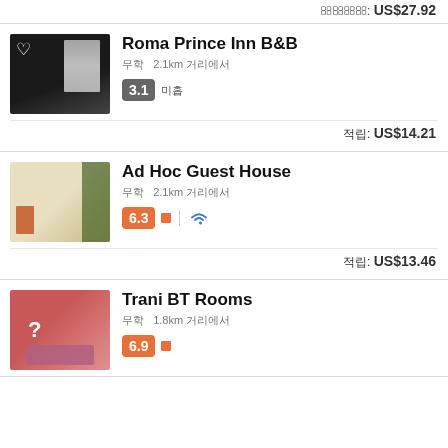적립: US$27.92
Roma Prince Inn B&B
도심 2.1km 거리에서
3.1 미흡
적립: US$14.21
Ad Hoc Guest House
도심 2.1km 거리에서
6.3 좋 | wifi
적립: US$13.46
Trani BT Rooms
도심 1.8km 거리에서
6.9 좋